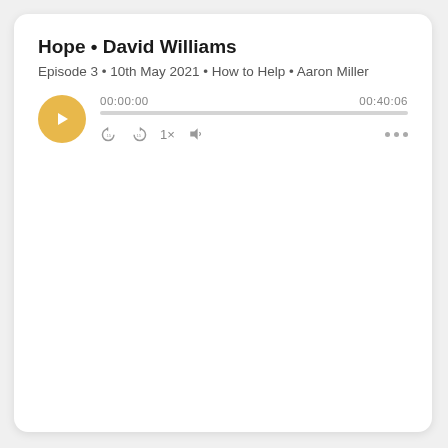Hope • David Williams
Episode 3 • 10th May 2021 • How to Help • Aaron Miller
[Figure (other): Podcast player UI with play button, progress bar at 00:00:00 of 00:40:06, playback controls (skip back, skip forward, 1x speed, volume), and three-dot menu]